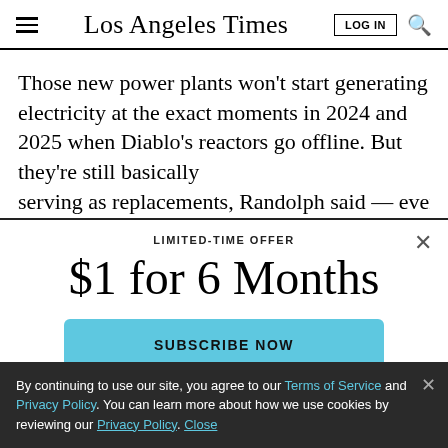Los Angeles Times
Those new power plants won’t start generating electricity at the exact moments in 2024 and 2025 when Diablo’s reactors go offline. But they’re still basically serving as replacements, Randolph said — even if
LIMITED-TIME OFFER
$1 for 6 Months
SUBSCRIBE NOW
By continuing to use our site, you agree to our Terms of Service and Privacy Policy. You can learn more about how we use cookies by reviewing our Privacy Policy. Close